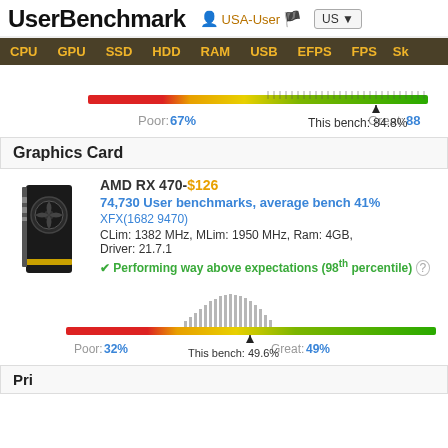UserBenchmark  USA-User  US
[Figure (infographic): Navigation bar with CPU, GPU, SSD, HDD, RAM, USB, EFPS, FPS, Sk links on dark olive background]
[Figure (continuous-plot): Benchmark distribution bar with red-yellow-green gradient, ticks, Poor: 67%, Great: 88, This bench: 84.8%]
Graphics Card
[Figure (photo): AMD RX 470 graphics card image]
AMD RX 470-$126
74,730 User benchmarks, average bench 41%
XFX(1682 9470)
CLim: 1382 MHz, MLim: 1950 MHz, Ram: 4GB, Driver: 21.7.1
✔ Performing way above expectations (98th percentile) ?
[Figure (continuous-plot): GPU benchmark distribution histogram with red-yellow-green bar, Poor: 32%, Great: 49%, This bench: 49.6%]
Pri